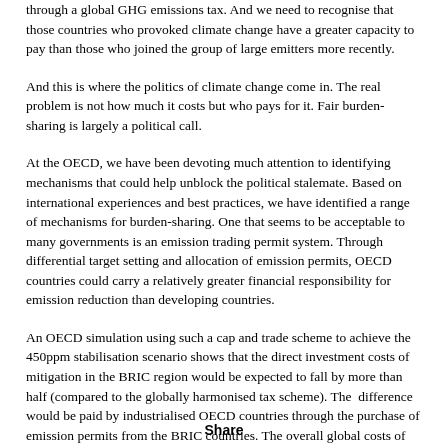through a global GHG emissions tax. And we need to recognise that those countries who provoked climate change have a greater capacity to pay than those who joined the group of large emitters more recently.
And this is where the politics of climate change come in. The real problem is not how much it costs but who pays for it. Fair burden-sharing is largely a political call.
At the OECD, we have been devoting much attention to identifying mechanisms that could help unblock the political stalemate. Based on international experiences and best practices, we have identified a range of mechanisms for burden-sharing. One that seems to be acceptable to many governments is an emission trading permit system. Through differential target setting and allocation of emission permits, OECD countries could carry a relatively greater financial responsibility for emission reduction than developing countries.
An OECD simulation using such a cap and trade scheme to achieve the 450ppm stabilisation scenario shows that the direct investment costs of mitigation in the BRIC region would be expected to fall by more than half (compared to the globally harmonised tax scheme). The  difference would be paid by industrialised OECD countries through the purchase of emission permits from the BRIC countries. The overall global costs of the mitigation
Share